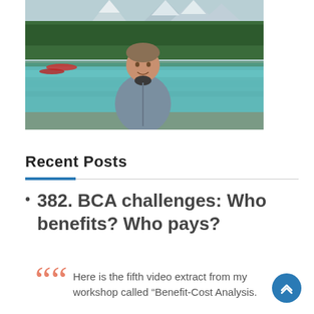[Figure (photo): A man standing outdoors in front of a mountain lake with turquoise water, forested slopes, and snow-capped peaks in the background. He is wearing a grey zip-up fleece. Red canoes are visible on the left.]
Recent Posts
382. BCA challenges: Who benefits? Who pays?
Here is the fifth video extract from my workshop called “Benefit-Cost Analysis.